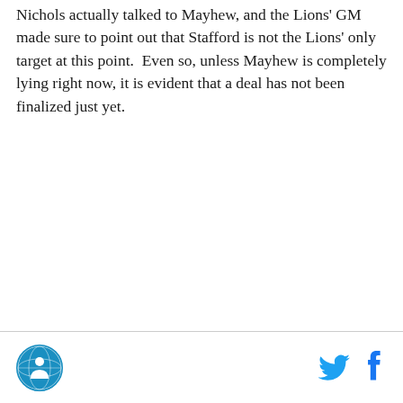Nichols actually talked to Mayhew, and the Lions' GM made sure to point out that Stafford is not the Lions' only target at this point.  Even so, unless Mayhew is completely lying right now, it is evident that a deal has not been finalized just yet.
[Figure (logo): SB Nation globe/person logo in blue circle, bottom left footer]